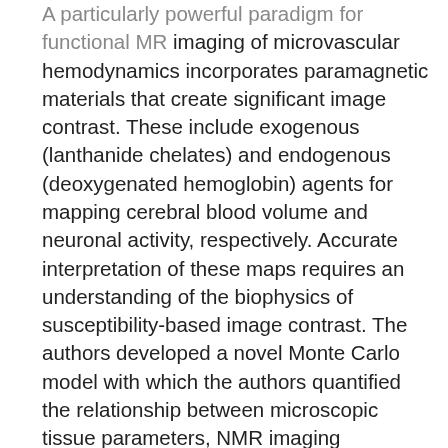A particularly powerful paradigm for functional MR imaging of microvascular hemodynamics incorporates paramagnetic materials that create significant image contrast. These include exogenous (lanthanide chelates) and endogenous (deoxygenated hemoglobin) agents for mapping cerebral blood volume and neuronal activity, respectively. Accurate interpretation of these maps requires an understanding of the biophysics of susceptibility-based image contrast. The authors developed a novel Monte Carlo model with which the authors quantified the relationship between microscopic tissue parameters, NMR imaging parameters, and susceptibility contrast in vivo. The authors found vascular permeability to water and the flow of erythrocytes to be relatively unimportant contributors to susceptibility-induced delta R2. However, pulse sequence, echo time, and concentration of contrast agent have profound effects on the vessel size dependence of delta R2. For a model vasculature containing both capillaries and